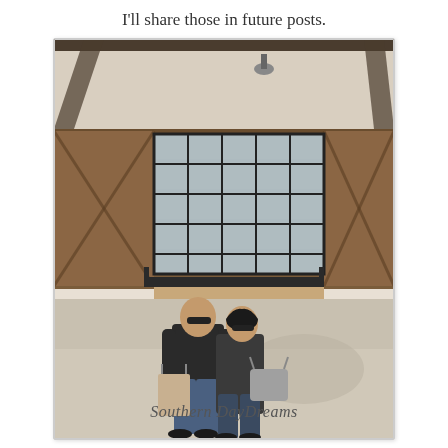I'll share those in future posts.
[Figure (photo): Two people (a man and a woman) standing in front of a rustic building with wooden walls, large industrial-style windows, and a covered overhang. The man carries a shopping bag and the woman carries a purse. The watermark 'Southern DayDreams' appears at the bottom of the photo.]